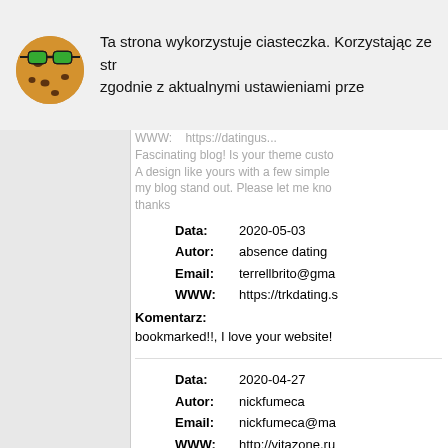[Figure (illustration): Cookie emoji with green sunglasses icon]
Ta strona wykorzystuje ciasteczka. Korzystając ze str zgodnie z aktualnymi ustawieniami prze
WWW: https://datingus... Fascinating blog! Is your theme custo A design like yours with a few simple my blog stand out. Please let me kno thanks
| Field | Value |
| --- | --- |
| Data: | 2020-05-03 |
| Autor: | absence dating |
| Email: | terrellbrito@gma |
| WWW: | https://trkdating.s |
Komentarz:
bookmarked!!, I love your website!
| Field | Value |
| --- | --- |
| Data: | 2020-04-27 |
| Autor: | nickfumeca |
| Email: | nickfumeca@ma |
| WWW: | http://vitazone.ru |
Komentarz:
[url=http://scoot-club.ru/member.php?
[url=http://bazarukraine.com/member.
что делает прокси сервер не отвеча Когда она расположена у окна, то н остальных комнат стойкой. Мебель обычно не оклеивают.
[url=https://sunduk-forum.ru/viewtopic [url=http://longavita.info/forum/topic.p Никакого нарушения закона из этой чиновников это может быть хороши
[url=https://glbyh.ru/member.php?u=9